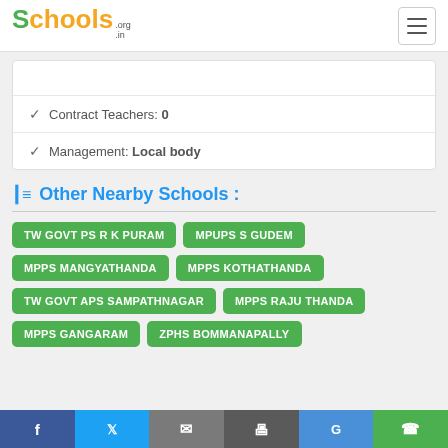Schools.org.in
✓ Contract Teachers: 0
✓ Management: Local body
Other Nearby Schools :
TW GOVT PS R K PURAM
MPUPS S GUDEM
MPPS MANGYATHANDA
MPPS KOTHATHANDA
TW GOVT APS SAMPATHNAGAR
MPPS RAJU THANDA
MPPS GANGARAM
ZPHS BOMMANAPALLY
f  Twitter  Email  Print  G  WhatsApp